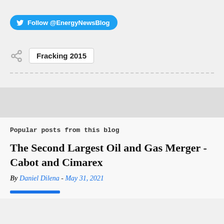[Figure (other): Twitter Follow button: Follow @EnergyNewsBlog]
Fracking 2015
Popular posts from this blog
The Second Largest Oil and Gas Merger - Cabot and Cimarex
By Daniel Dilena - May 31, 2021